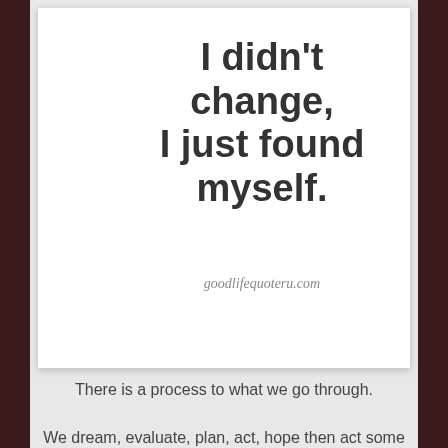[Figure (illustration): White card with large bold quote text: 'I didn't change, I just found myself.' with watermark 'goodlifequoteru.com']
There is a process to what we go through.
We dream, evaluate, plan, act, hope then act some more.